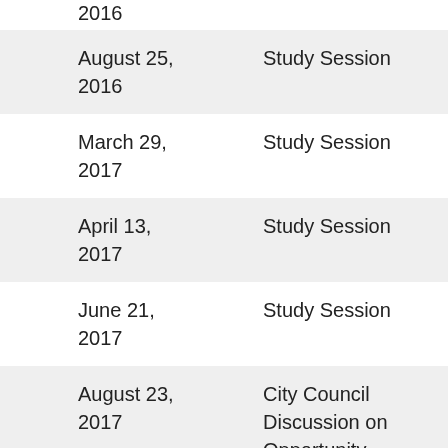2016
| Date | Type | Link |
| --- | --- | --- |
| August 25, 2016 | Study Session | Materials |
| March 29, 2017 | Study Session | Materials |
| April 13, 2017 | Study Session | Materials |
| June 21, 2017 | Study Session | Materials |
| August 23, 2017 | City Council Discussion on Opportunity Sites 5 and 7 | Materials |